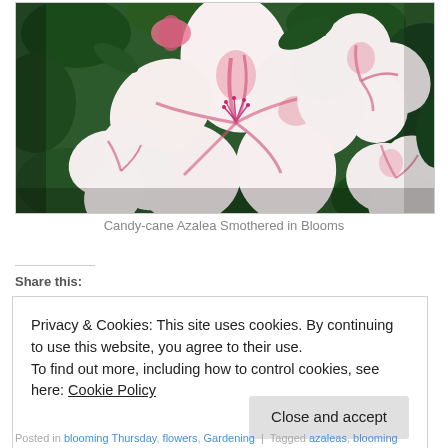[Figure (photo): Close-up photo of candy-cane azalea flowers with white petals streaked with pink/red, surrounded by dark green leaves]
Candy-cane Azalea Smothered in Blooms
Share this:
Privacy & Cookies: This site uses cookies. By continuing to use this website, you agree to their use.
To find out more, including how to control cookies, see here: Cookie Policy
Close and accept
Posted in blooming Thursday, flowers, Gardening | Tagged azaleas, blooming